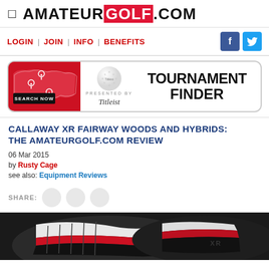AMATEUR GOLF .COM
LOGIN | JOIN | INFO | BENEFITS
[Figure (illustration): Tournament Finder banner with USA map graphic, Search Now button, Titleist golf ball, and large bold text reading TOURNAMENT FINDER PRESENTED BY Titleist]
CALLAWAY XR FAIRWAY WOODS AND HYBRIDS: THE AMATEURGOLF.COM REVIEW
06 Mar 2015
by Rusty Cage
see also: Equipment Reviews
SHARE:
[Figure (photo): Bottom strip showing close-up of a Callaway XR golf club head with white, black and red design elements]